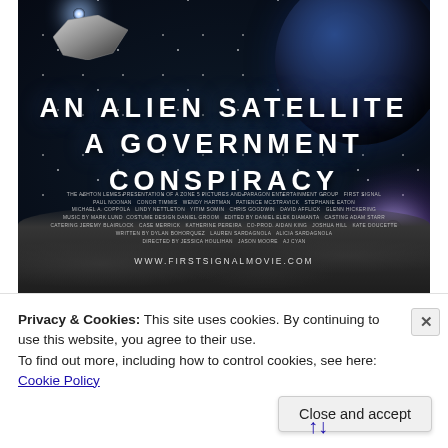[Figure (photo): Movie poster for 'First Signal' featuring a science fiction space scene. Shows a spaceship in upper left, a large planet in upper right, starfield background, glowing light beam on right side, and moon surface at the bottom. Text reads 'AN ALIEN SATELLITE A GOVERNMENT CONSPIRACY' with cast credits and website www.firstsignalmovie.com]
Privacy & Cookies: This site uses cookies. By continuing to use this website, you agree to their use. To find out more, including how to control cookies, see here: Cookie Policy